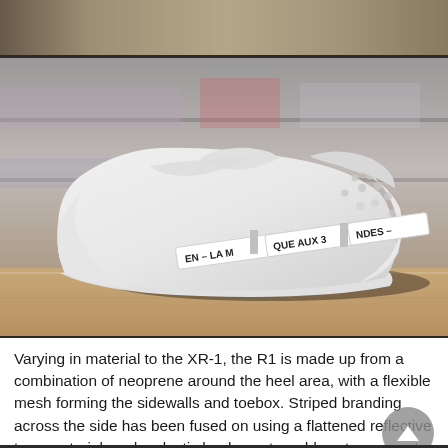[Figure (photo): Top strip showing a partial cropped photo, warm tan/brown tones, appears to be a shoe or surface detail]
[Figure (photo): Close-up photo of a white adidas NMD R1 sneaker lying on its side on a wooden floor, showing the heel and sole area with branded tape straps reading 'EN – LA M', 'QUE AUX 3', 'NDES –', with a blurred bookshelf background]
Varying in material to the XR-1, the R1 is made up from a combination of neoprene around the heel area, with a flexible mesh forming the sidewalls and toebox. Striped branding across the side has been fused on using a flattened reflective tape material, and a plastic heel counter adds extra support.